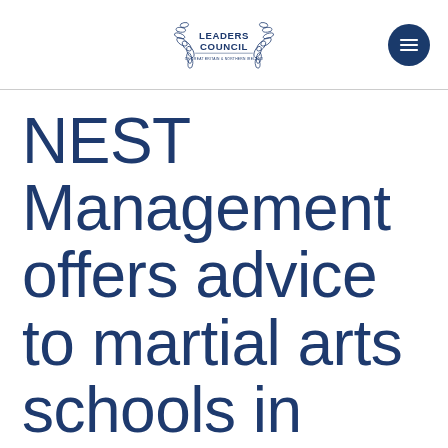Leaders Council of Great Britain & Northern Ireland
NEST Management offers advice to martial arts schools in wake of new rules